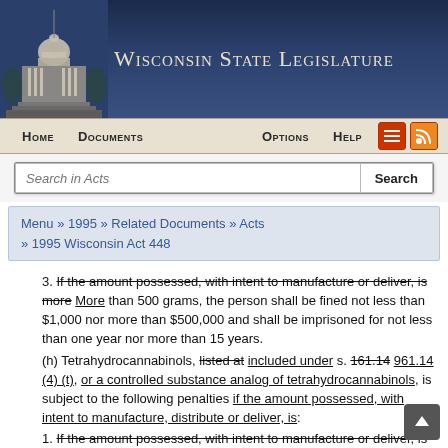[Figure (screenshot): Wisconsin State Legislature website header with capitol building image and navigation bar]
Menu » 1995 » Related Documents » Acts » 1995 Wisconsin Act 448
3. If the amount possessed, with intent to manufacture or deliver, is more More than 500 grams, the person shall be fined not less than $1,000 nor more than $500,000 and shall be imprisoned for not less than one year nor more than 15 years.
(h) Tetrahydrocannabinols, listed at included under s. 161.14 961.14 (4) (t), or a controlled substance analog of tetrahydrocannabinols, is subject to the following penalties if the amount possessed, with intent to manufacture, distribute or deliver, is:
1. If the amount possessed, with intent to manufacture or deliver, is 500 Five hundred grams or less, or 10 marijuana or f...